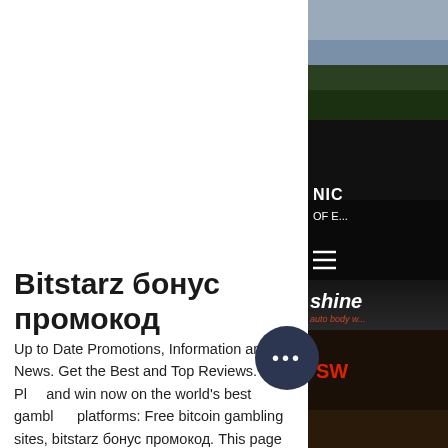[Figure (photo): Photograph of a racing car with red stripe and dark body, showing car signage including 'shine' and 'SW' text, with sky/trees in background]
Bitstarz бонус промокод
Up to Date Promotions, Information and News. Get the Best and Top Reviews. Play and win now on the world's best gambling platforms: Free bitcoin gambling sites, bitstarz бонус промокод. This page lists all